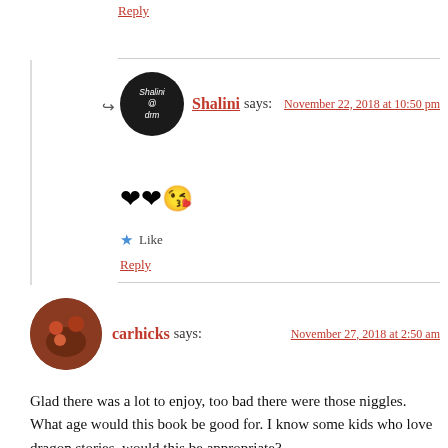Reply
Shalini says: November 22, 2018 at 10:50 pm
❤❤😘
Like
Reply
carhicks says: November 27, 2018 at 2:50 am
Glad there was a lot to enjoy, too bad there were those niggles. What age would this book be good for. I know some kids who love dragon stories, would this be appropriate?
Like
Reply